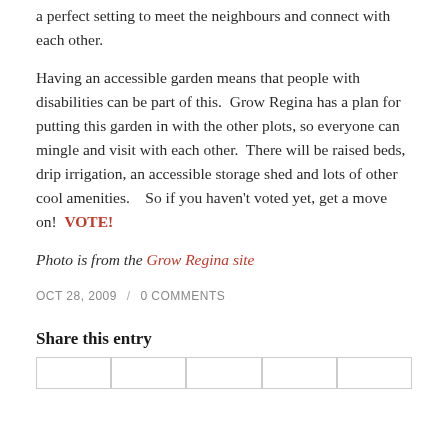a perfect setting to meet the neighbours and connect with each other.

Having an accessible garden means that people with disabilities can be part of this.  Grow Regina has a plan for putting this garden in with the other plots, so everyone can mingle and visit with each other.  There will be raised beds, drip irrigation, an accessible storage shed and lots of other cool amenities.    So if you haven't voted yet, get a move on!  VOTE!
Photo is from the Grow Regina site
OCT 28, 2009 / 0 COMMENTS
Share this entry
|  |  |  |  |  |